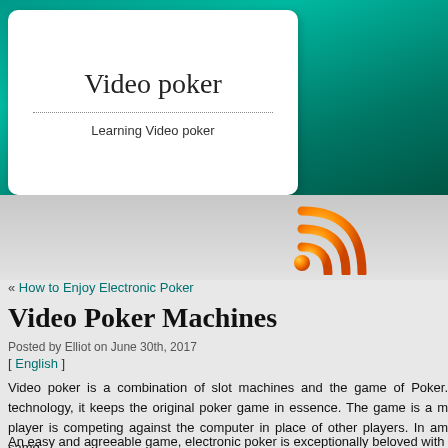Video poker
Learning Video poker
[Figure (logo): RSS feed icon in orange gradient]
« How to Enjoy Electronic Poker
Video Poker Machines
Posted by Elliot on June 30th, 2017
[ English ]
Video poker is a combination of slot machines and the game of Poker. technology, it keeps the original poker game in essence. The game is a m player is competing against the computer in place of other players. In am same.
An easy and agreeable game, electronic poker is exceptionally beloved with